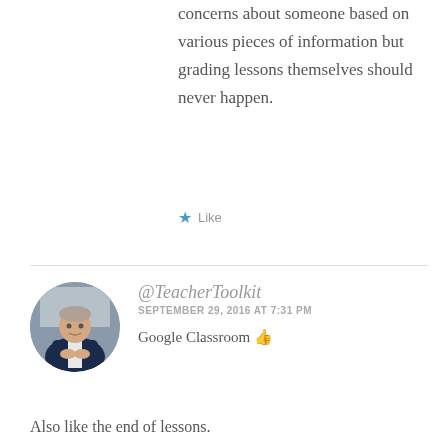concerns about someone based on various pieces of information but grading lessons themselves should never happen.
★ Like
@TeacherToolkit
SEPTEMBER 29, 2016 AT 7:31 PM
Google Classroom 👍
Also like the end of lessons.